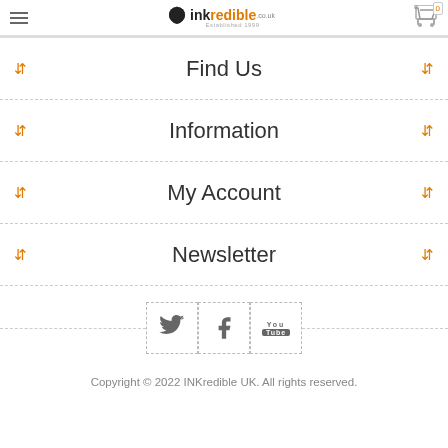INKredible.co.uk header with logo, hamburger menu, and cart icon (0)
Find Us
Information
My Account
Newsletter
[Figure (logo): Social media icons: Twitter, Facebook, YouTube, flanked by dashed horizontal lines]
Copyright © 2022 INKredible UK. All rights reserved.